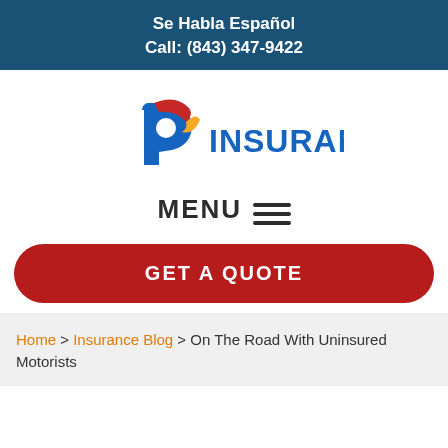Se Habla Español
Call: (843) 347-9422
[Figure (logo): P Insurance logo with colorful stylized 'P' letter and blue INSURANCE text]
MENU ≡
GET A QUOTE
Home > Insurance Blog > On The Road With Uninsured Motorists